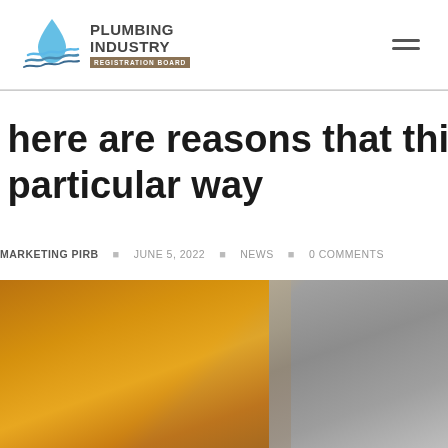[Figure (logo): Plumbing Industry Registration Board logo with water drop and wave graphic, and text 'PLUMBING INDUSTRY REGISTRATION BOARD']
here are reasons that things are done in a particular way
MARKETING PIRB  ■ JUNE 5, 2022  ■ NEWS  ■ 0 COMMENTS
[Figure (photo): Partial view of pipes or plumbing materials in warm orange/brown tones on the left and grey metallic tones on the right]